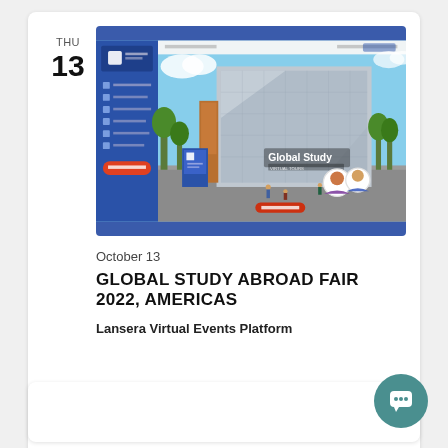THU
13
[Figure (screenshot): Screenshot of Global Study Abroad Fair 2022 virtual event platform website showing a modern building exterior with avatars and a navigation sidebar]
October 13
GLOBAL STUDY ABROAD FAIR 2022, AMERICAS
Lansera Virtual Events Platform